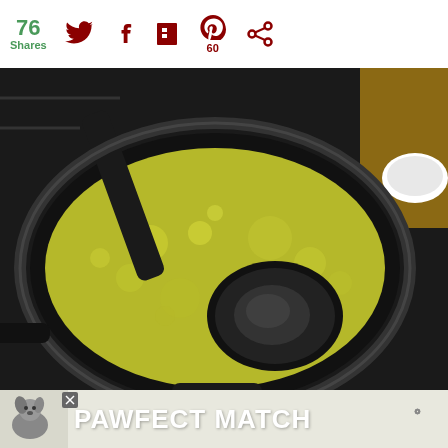76 Shares
[Figure (photo): A black saucepan on a stove with a yellowish-green liquid simmering inside, with a black ladle resting in the pan. A white bowl with ingredients is visible in the top right corner.]
WHAT'S NEXT → Roasted Chicken...
[Figure (photo): Advertisement banner: dog with text PAWFECT MATCH]
PAWFECT MATCH advertisement